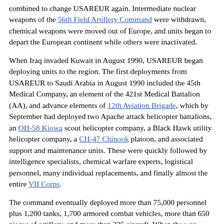combined to change USAREUR again. Intermediate nuclear weapons of the 56th Field Artillery Command were withdrawn, chemical weapons were moved out of Europe, and units began to depart the European continent while others were inactivated.
When Iraq invaded Kuwait in August 1990, USAREUR began deploying units to the region. The first deployments from USAREUR to Saudi Arabia in August 1990 included the 45th Medical Company, an element of the 421st Medical Battalion (AA), and advance elements of 12th Aviation Brigade, which by September had deployed two Apache attack helicopter battalions, an OH-58 Kiowa scout helicopter company, a Black Hawk utility helicopter company, a CH-47 Chinook platoon, and associated support and maintenance units. These were quickly followed by intelligence specialists, chemical warfare experts, logistical personnel, many individual replacements, and finally almost the entire VII Corps.
The command eventually deployed more than 75,000 personnel plus 1,200 tanks, 1,700 armored combat vehicles, more than 650 pieces of artillery, and more than 325 aircraft. When the war ended, many USAREUR soldiers remained to complete the logistical cleanup; others were deployed to northern Iraq or Turkey as part of Operation Provide Comfort to aid refugees. Upon their return to Europe, many also found that their units were in the